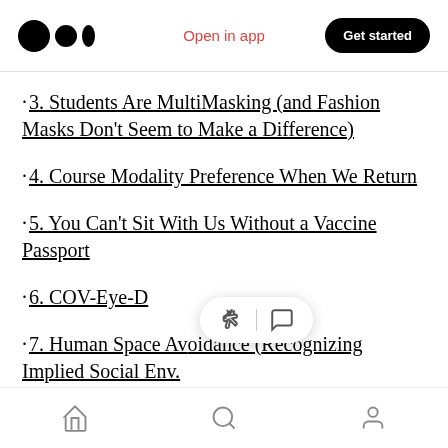Medium logo | Open in app | Get started
· 3. Students Are MultiMasking (and Fashion Masks Don't Seem to Make a Difference)
· 4. Course Modality Preference When We Return
· 5. You Can't Sit With Us Without a Vaccine Passport
· 6. COV-Eye-D
· 7. Human Space Avoidance (Recognizing Implied Social Env...
Home | Search | Profile